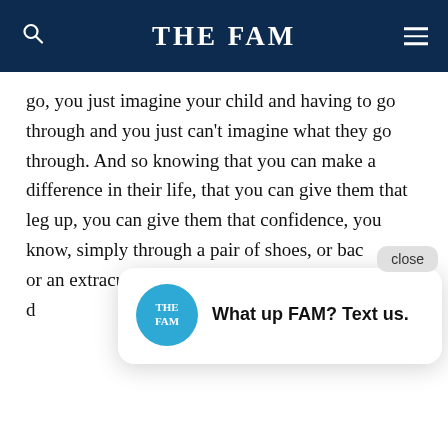THE FAM
go, you just imagine your child and having to go through and you just can't imagine what they go through. And so knowing that you can make a difference in their life, that you can give them that leg up, you can give them that confidence, you know, simply through a pair of shoes, or bac or an extracur play in every d difference in t
Yeah. Tell us I know, we're getting near the end so there's someone out there listening, right they're, you know, they're working at a compa maybe they're leading the company. And they're not